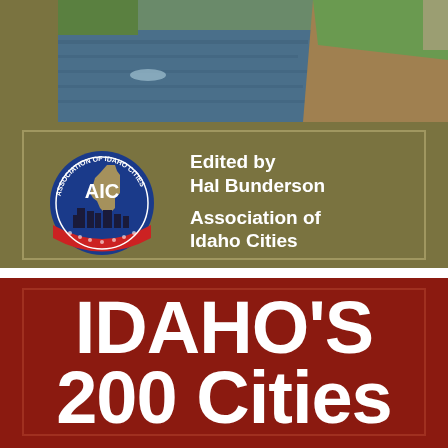[Figure (photo): Aerial or landscape photo of a river/canal with green grass banks and brown earth, showing the Snake River or similar Idaho waterway]
[Figure (logo): AIC - Association of Idaho Cities circular logo with blue circle, red band, city skyline silhouette and Idaho state shape]
Edited by Hal Bunderson
Association of Idaho Cities
IDAHO'S 200 Cities